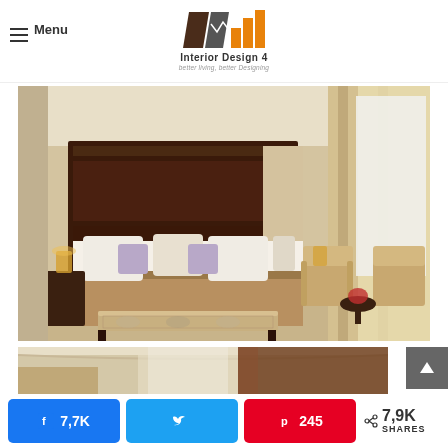Menu | Interior Design 4 — better living, better Designing
[Figure (photo): Elegant hotel bedroom with dark wood headboard, white pillows, beige blanket, decorative bench at foot of bed, two armchairs and small round table with flowers near large window with cream curtains]
[Figure (photo): Partial view of another bedroom interior showing ceiling molding, window with curtains and dark wood furniture]
7,7K
245
7,9K SHARES